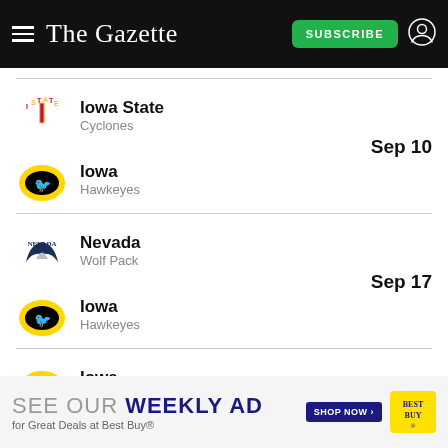The Gazette — SUBSCRIBE
Iowa State Cyclones vs Iowa Hawkeyes — Sep 10
Nevada Wolf Pack vs Iowa Hawkeyes — Sep 17
Iowa Hawkeyes vs Rutgers Scarlet Knights — Sep 24
SEE OUR WEEKLY AD for Great Deals at Best Buy® SHOP NOW